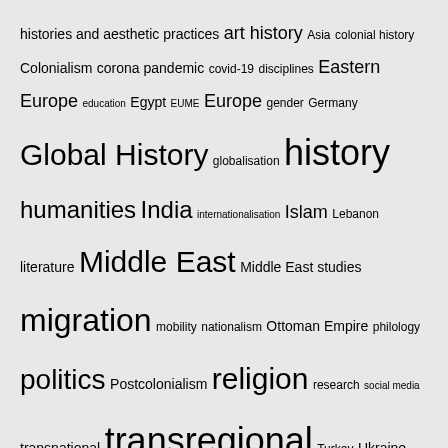[Figure (other): Tag cloud with keywords of varying font sizes: histories and aesthetic practices, art history, Asia, colonial history, Colonialism, corona pandemic, covid-19, disciplines, Eastern Europe, education, Egypt, EUME, Europe, gender, Germany, Global History, globalisation, history, humanities, India, internationalisation, Islam, Lebanon, literature, Middle East, Middle East studies, migration, mobility, nationalism, Ottoman Empire, philology, politics, Postcolonialism, religion, research, social media, transnational, transregional, Turkey, Ukraine]
NEWS FROM THE FORUM TRANSREGIONALE STUDIEN
The Military Destruction of Late Soviet Urban Space in Ukraine and the Demise of the Soviet Man
JOB: Projektmitarbeiter:in (m/w/d) für das Forschungsprogramm re:constitution